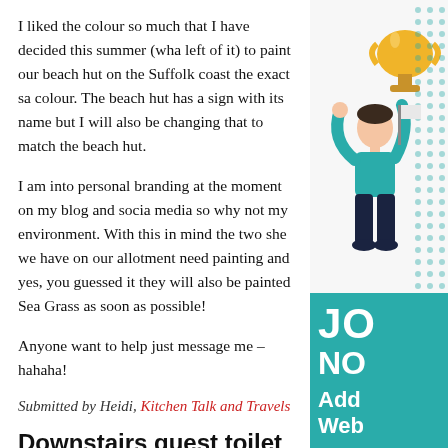I liked the colour so much that I have decided this summer (wha left of it) to paint our beach hut on the Suffolk coast the exact sa colour. The beach hut has a sign with its name but I will also be changing that to match the beach hut.
I am into personal branding at the moment on my blog and socia media so why not my environment. With this in mind the two she we have on our allotment need painting and yes, you guessed it they will also be painted Sea Grass as soon as possible!
Anyone want to help just message me – hahaha!
Submitted by Heidi, Kitchen Talk and Travels
Downstairs guest toilet
For a small home improvement project for this summer, we pain our downstairs guest toilet a beautiful dark blue colour using pai from Lick. It was a small and very plain room with white tiles and white walls. I'd been thinking about using a bold, dark colour somewhere in the house and this small area was perfect to experiment with. We got a kit with all the equipment we needed Lick too so that we didn't need to go to any shops which was pe
[Figure (illustration): Illustrated person with trophy and flag, celebration graphic with gold trophy top right and teal dotted background]
JO NO Add Web